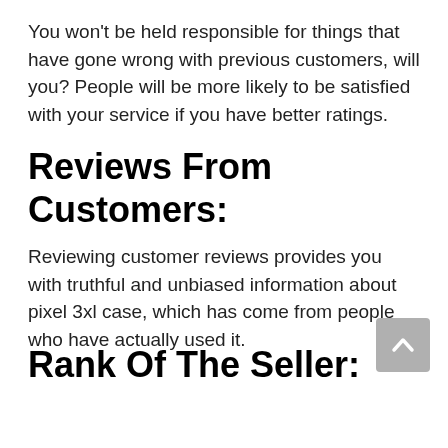You won't be held responsible for things that have gone wrong with previous customers, will you? People will be more likely to be satisfied with your service if you have better ratings.
Reviews From Customers:
Reviewing customer reviews provides you with truthful and unbiased information about pixel 3xl case, which has come from people who have actually used it.
Rank Of The Seller: